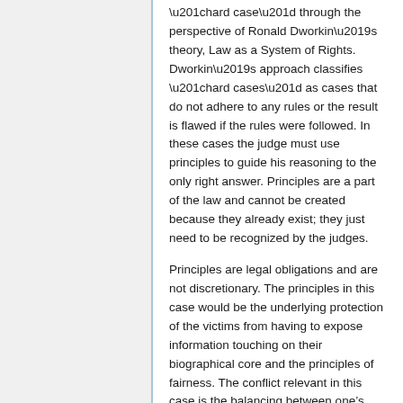“hard case” through the perspective of Ronald Dworkin’s theory, Law as a System of Rights. Dworkin’s approach classifies “hard cases” as cases that do not adhere to any rules or the result is flawed if the rules were followed. In these cases the judge must use principles to guide his reasoning to the only right answer. Principles are a part of the law and cannot be created because they already exist; they just need to be recognized by the judges.
Principles are legal obligations and are not discretionary. The principles in this case would be the underlying protection of the victims from having to expose information touching on their biographical core and the principles of fairness. The conflict relevant in this case is the balancing between one’s